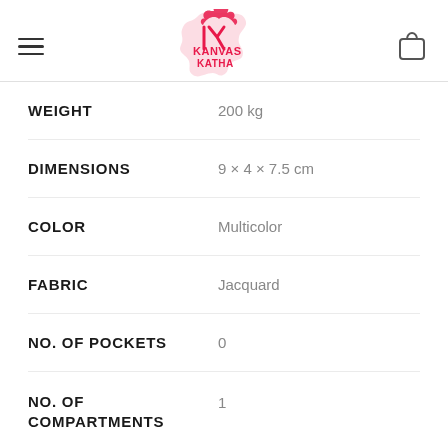Kanvas Katha logo with hamburger menu and bag icon
| Attribute | Value |
| --- | --- |
| WEIGHT | 200 kg |
| DIMENSIONS | 9 × 4 × 7.5 cm |
| COLOR | Multicolor |
| FABRIC | Jacquard |
| NO. OF POCKETS | 0 |
| NO. OF COMPARTMENTS | 1 |
| CLOSURE | Z… |